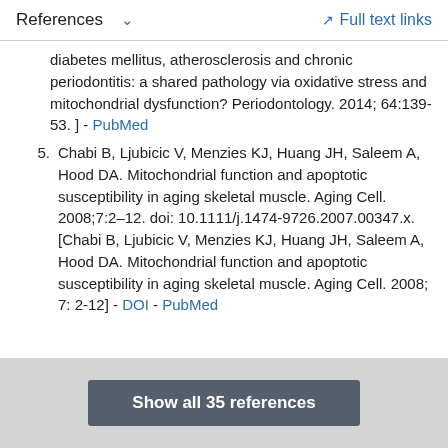References  ∨    Full text links
diabetes mellitus, atherosclerosis and chronic periodontitis: a shared pathology via oxidative stress and mitochondrial dysfunction? Periodontology. 2014; 64:139-53. ] - PubMed
5. Chabi B, Ljubicic V, Menzies KJ, Huang JH, Saleem A, Hood DA. Mitochondrial function and apoptotic susceptibility in aging skeletal muscle. Aging Cell. 2008;7:2–12. doi: 10.1111/j.1474-9726.2007.00347.x. [Chabi B, Ljubicic V, Menzies KJ, Huang JH, Saleem A, Hood DA. Mitochondrial function and apoptotic susceptibility in aging skeletal muscle. Aging Cell. 2008; 7: 2-12] - DOI - PubMed
Show all 35 references